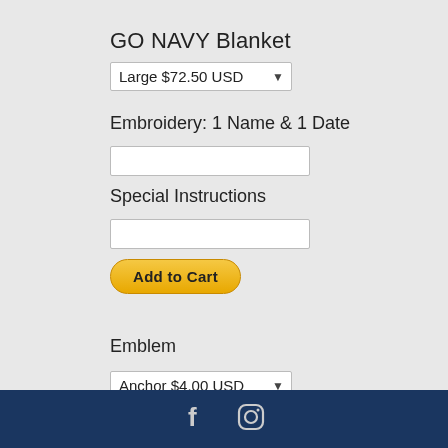GO NAVY Blanket
Large $72.50 USD (dropdown)
Embroidery: 1 Name & 1 Date
(text input field)
Special Instructions
(text input field)
Add to Cart (button)
Emblem
Anchor $4.00 USD (dropdown)
Add to Cart (button)
Facebook and Instagram social icons